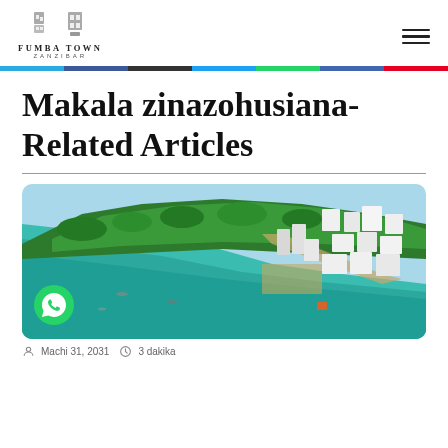FUMBA TOWN ZANZIBAR
Makala zinazohusiana-Related Articles
[Figure (photo): Aerial drone photograph of Fumba Town Zanzibar showing turquoise ocean water on the left, green forested coastline in the middle, and white residential buildings of the development on the right. A WhatsApp chat button is visible in the lower left corner.]
Machi 31, 2031   3 dakika